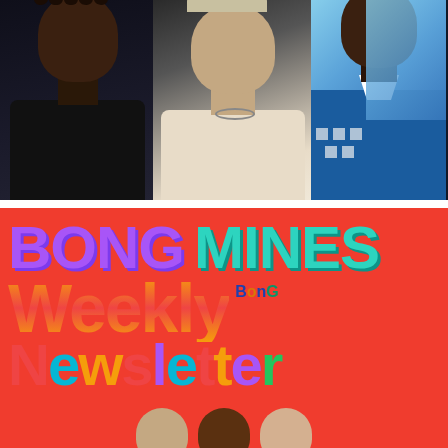[Figure (photo): Collage of three musicians/artists against dark background: person with braids on left, person with light hair in center, person in blue checkered jacket on right]
[Figure (illustration): Bong Mines Weekly Newsletter banner on bright red/coral background with colorful large text: 'BONG MINES' in purple and teal, 'Weekly' in orange/yellow gradient, small 'BonG' logo, 'Newsletter' in multicolored letters. Bottom shows partial faces/heads.]